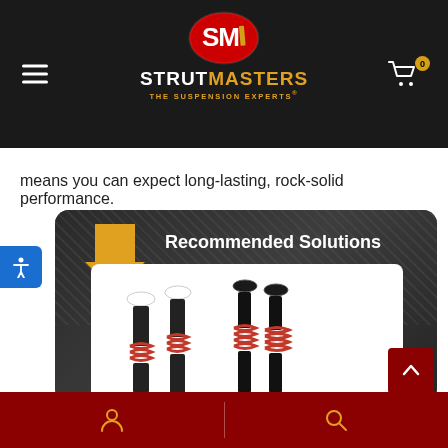[Figure (logo): StrutMasters logo — red oval with white SM text, company name STRUTMASTERS in white and gold, tagline THE SUSPENSION EXPERTS in gold]
means you can expect long-lasting, rock-solid performance.
Recommended Solutions
[Figure (photo): Four automotive strut/shock absorber assemblies with red coil springs displayed on white background]
User account icon | Search icon